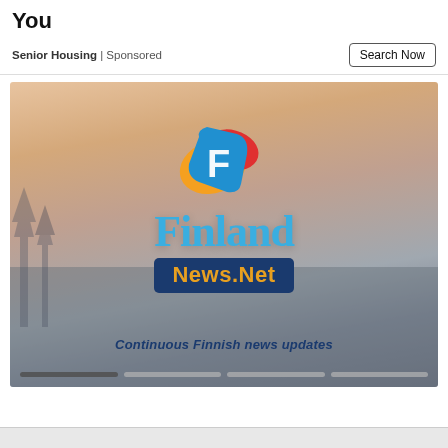You
Senior Housing | Sponsored
Search Now
[Figure (logo): Finland News.Net logo with colorful play-button style icon above large blue 'Finland' text and dark blue banner reading 'News.Net' in orange, set against a misty cityscape background with subtitle 'Continuous Finnish news updates' and four progress bar segments at bottom]
Continuous Finnish news updates